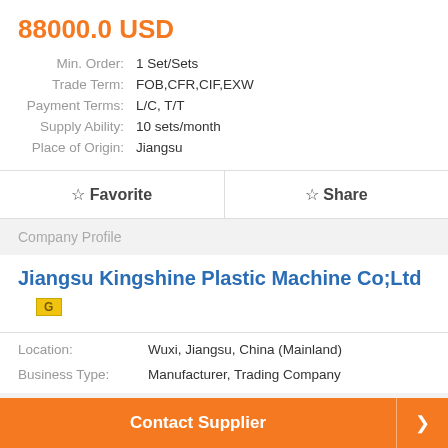88000.0 USD
| Label | Value |
| --- | --- |
| Min. Order: | 1 Set/Sets |
| Trade Term: | FOB,CFR,CIF,EXW |
| Payment Terms: | L/C, T/T |
| Supply Ability: | 10 sets/month |
| Place of Origin: | Jiangsu |
☆ Favorite
☆ Share
Company Profile
Jiangsu Kingshine Plastic Machine Co;Ltd
[Figure (logo): Gold badge with letter G]
| Label | Value |
| --- | --- |
| Location: | Wuxi, Jiangsu, China (Mainland) |
| Business Type: | Manufacturer, Trading Company |
Product Detail
Contact Supplier